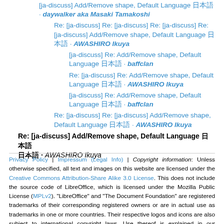[ja-discuss] Add/Remove shape, Default Language 日本語 · daywalker aka Masaki Tamakoshi
Re: [ja-discuss] Re: [ja-discuss] Re: [ja-discuss] Re: [ja-discuss] Add/Remove shape, Default Language 日本語 · AWASHIRO Ikuya
[ja-discuss] Re: Add/Remove shape, Default Language 日本語 · baffclan
Re: [ja-discuss] Re: Add/Remove shape, Default Language 日本語 · AWASHIRO Ikuya
[ja-discuss] Re: Add/Remove shape, Default Language 日本語 · baffclan
Re: [ja-discuss] Re: [ja-discuss] Add/Remove shape, Default Language 日本語 · AWASHIRO Ikuya
Re: [ja-discuss] Add/Remove shape, Default Language 日本語 · AWASHIRO Ikuya
Privacy Policy | Impressum (Legal Info) | Copyright information: Unless otherwise specified, all text and images on this website are licensed under the Creative Commons Attribution-Share Alike 3.0 License. This does not include the source code of LibreOffice, which is licensed under the Mozilla Public License (MPLv2). "LibreOffice" and "The Document Foundation" are registered trademarks of their corresponding registered owners or are in actual use as trademarks in one or more countries. Their respective logos and icons are also subject to international copyright laws. Use thereof is explained in our trademark policy.